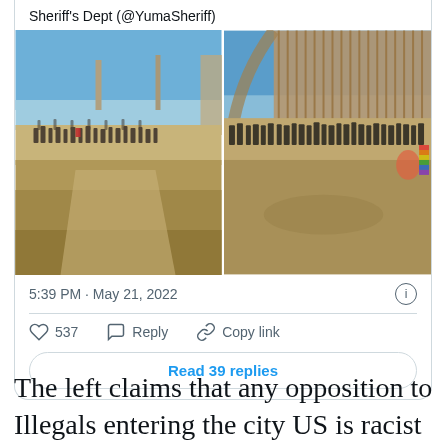Sheriff's Dept (@YumaSheriff)
[Figure (photo): Two side-by-side photos showing large groups of people gathered near a border wall in a desert setting with blue sky. Left photo shows people standing on sandy ground with a structure in the background. Right photo shows people lined up along a tall metal border fence/wall.]
5:39 PM · May 21, 2022
537   Reply   Copy link
Read 39 replies
The left claims that any opposition to Illegals entering the city US is racist and